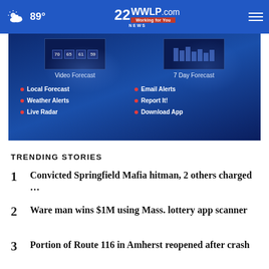89° WWLP.com — 22 News Working for You
[Figure (screenshot): Weather forecast banner showing Video Forecast and 7 Day Forecast thumbnails with links: Local Forecast, Weather Alerts, Live Radar, Email Alerts, Report It!, Download App]
TRENDING STORIES
1 Convicted Springfield Mafia hitman, 2 others charged ...
2 Ware man wins $1M using Mass. lottery app scanner
3 Portion of Route 116 in Amherst reopened after crash